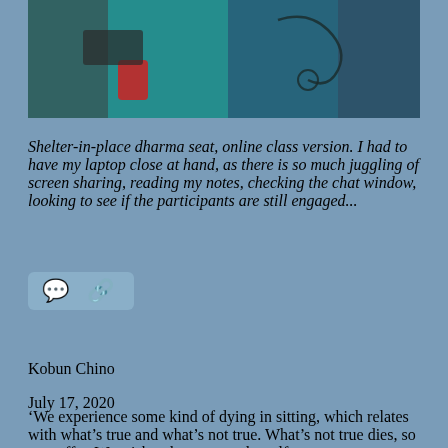[Figure (photo): A close-up photo showing a teal/turquoise colored fabric or cushion with an abstract line drawing on it, along with what appears to be a red object and some electronic equipment in the background.]
Shelter-in-place dharma seat, online class version. I had to have my laptop close at hand, as there is so much juggling of screen sharing, reading my notes, checking the chat window, looking to see if the participants are still engaged...
[Figure (other): Social interaction icons: a speech bubble icon and a link/chain icon on a grey-blue pill-shaped background.]
Kobun Chino
July 17, 2020
‘We experience some kind of dying in sitting, which relates with what’s true and what’s not true. What’s not true dies, so we suffer. We wish to hang on to the self